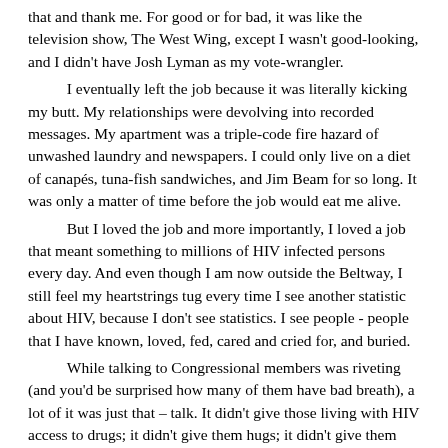that and thank me. For good or for bad, it was like the television show, The West Wing, except I wasn't good-looking, and I didn't have Josh Lyman as my vote-wrangler.

I eventually left the job because it was literally kicking my butt. My relationships were devolving into recorded messages. My apartment was a triple-code fire hazard of unwashed laundry and newspapers. I could only live on a diet of canapés, tuna-fish sandwiches, and Jim Beam for so long. It was only a matter of time before the job would eat me alive.

But I loved the job and more importantly, I loved a job that meant something to millions of HIV infected persons every day. And even though I am now outside the Beltway, I still feel my heartstrings tug every time I see another statistic about HIV, because I don't see statistics. I see people - people that I have known, loved, fed, cared and cried for, and buried.

While talking to Congressional members was riveting (and you'd be surprised how many of them have bad breath), a lot of it was just that – talk. It didn't give those living with HIV access to drugs; it didn't give them hugs; it didn't give them information to fight the spread of HIV; it didn't feed them. That could only be done by humans for humans in libraries, in schools and on street blocks.

Because...